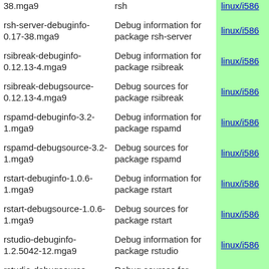| Package | Description | Arch |
| --- | --- | --- |
| 38.mga9 | rsh | linux/i586 |
| rsh-server-debuginfo-0.17-38.mga9 | Debug information for package rsh-server | linux/i586 |
| rsibreak-debuginfo-0.12.13-4.mga9 | Debug information for package rsibreak | linux/i586 |
| rsibreak-debugsource-0.12.13-4.mga9 | Debug sources for package rsibreak | linux/i586 |
| rspamd-debuginfo-3.2-1.mga9 | Debug information for package rspamd | linux/i586 |
| rspamd-debugsource-3.2-1.mga9 | Debug sources for package rspamd | linux/i586 |
| rstart-debuginfo-1.0.6-1.mga9 | Debug information for package rstart | linux/i586 |
| rstart-debugsource-1.0.6-1.mga9 | Debug sources for package rstart | linux/i586 |
| rstudio-debuginfo-1.2.5042-12.mga9 | Debug information for package rstudio | linux/i586 |
| rstudio-debugsource-1.2.5042-12.mga9 | Debug sources for package rstudio | linux/i586 |
| rstudio-server-debuginfo-1.2.5042-12.mga9 | Debug information for package rstudio-server | linux/i586 |
| rsyndump-debuginfo- | Debug information for | linux/i586 |